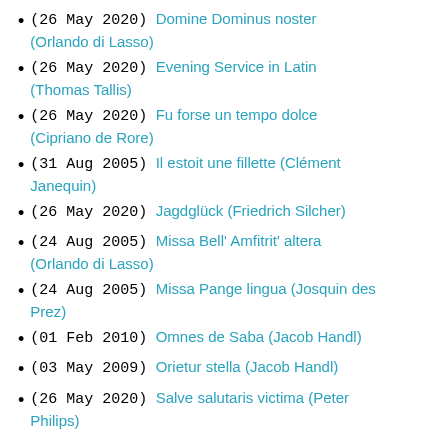(26 May 2020) Domine Dominus noster (Orlando di Lasso)
(26 May 2020) Evening Service in Latin (Thomas Tallis)
(26 May 2020) Fu forse un tempo dolce (Cipriano de Rore)
(31 Aug 2005) Il estoit une fillette (Clément Janequin)
(26 May 2020) Jagdglück (Friedrich Silcher)
(24 Aug 2005) Missa Bell' Amfitrit' altera (Orlando di Lasso)
(24 Aug 2005) Missa Pange lingua (Josquin des Prez)
(01 Feb 2010) Omnes de Saba (Jacob Handl)
(03 May 2009) Orietur stella (Jacob Handl)
(26 May 2020) Salve salutaris victima (Peter Philips)